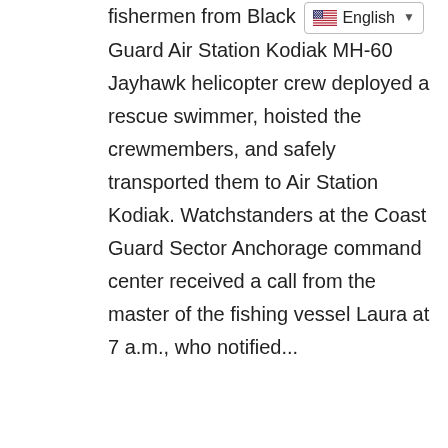fishermen from Black [English language selector] Guard Air Station Kodiak MH-60 Jayhawk helicopter crew deployed a rescue swimmer, hoisted the crewmembers, and safely transported them to Air Station Kodiak. Watchstanders at the Coast Guard Sector Anchorage command center received a call from the master of the fishing vessel Laura at 7 a.m., who notified...
read more
[Figure (photo): A waterfront scene showing a small boat on calm water under a hazy orange-pink sky, with a dock, lamp post, and equipment in the foreground, and a landmass visible in the background.]